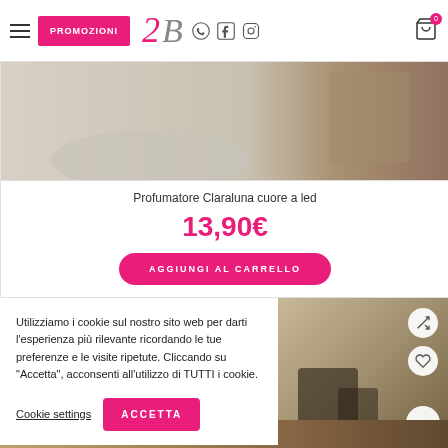PROMOZIONI | Logo 2B | social icons | cart
[Figure (photo): Product photo of Profumatore Claraluna cuore a led - top portion showing a rounded white/beige diffuser on a plate with another product partially visible on the right]
Profumatore Claraluna cuore a led
13,90€
AGGIUNGI AL CARRELLO
[Figure (photo): Product photo partially visible on the right side - appears to be a metallic/brass colored decorative object on beige background]
Utilizziamo i cookie sul nostro sito web per darti l'esperienza più rilevante ricordando le tue preferenze e le visite ripetute. Cliccando su "Accetta", acconsenti all'utilizzo di TUTTI i cookie.
Cookie settings
ACCETTA
[Figure (photo): Bottom strip showing beginning of another product image in warm golden/brown tones]